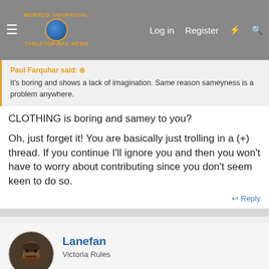Morrus' Unofficial Tabletop RPG News — Log in | Register
Paul Farquhar said: ⊕
It's boring and shows a lack of imagination. Same reason sameyness is a problem anywhere.
CLOTHING is boring and samey to you?

Oh, just forget it! You are basically just trolling in a (+) thread. If you continue I'll ignore you and then you won't have to worry about contributing since you don't seem keen to do so.
↩ Reply
Lanefan
Victoria Rules